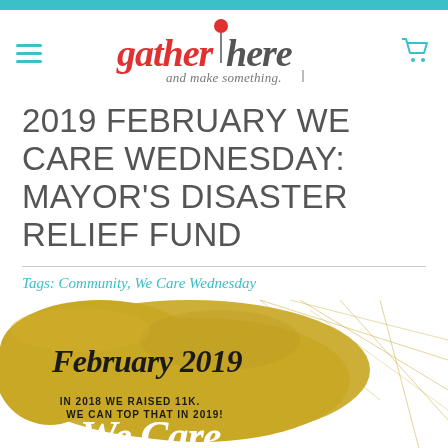gather here and make something.
2019 FEBRUARY WE CARE WEDNESDAY: MAYOR'S DISASTER RELIEF FUND
Tags: Community, We Care Wednesday
[Figure (illustration): February 2019 We Care Wednesday promotional graphic with gold paintbrush background and geometric line design. Text reads: 'February 2019 IN 2018 WE RAISED 11K. WE CAN TOP THAT IN 2019! We Care']